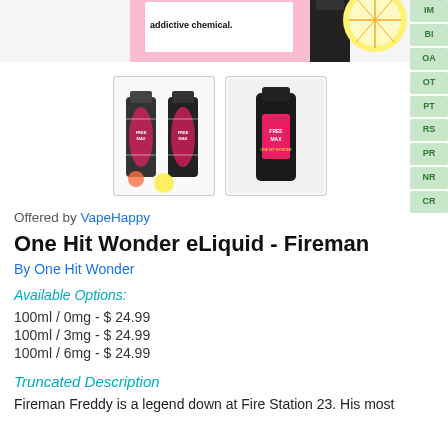[Figure (photo): Top portion of a vape/e-liquid product image showing a pink box with text 'addictive chemical.' and a lemon slice visible on the right side]
[Figure (photo): Two product thumbnail images of One Hit Wonder Fireman e-liquid bottles, showing colorful labels]
Offered by VapeHappy
One Hit Wonder eLiquid - Fireman
By One Hit Wonder
Available Options:
100ml / 0mg - $ 24.99
100ml / 3mg - $ 24.99
100ml / 6mg - $ 24.99
Truncated Description
Fireman Freddy is a legend down at Fire Station 23. His most